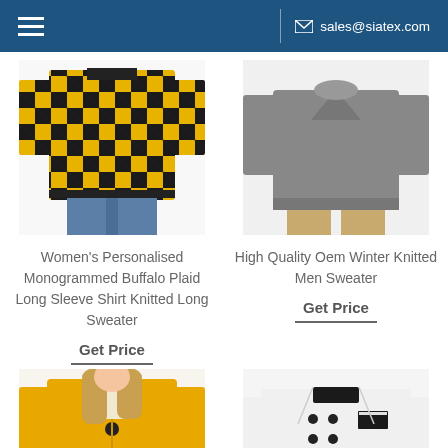sales@siatex.com
[Figure (photo): Women's buffalo plaid long sleeve shirt knitted sweater - yellow and black plaid pattern, model shown from waist down with jeans]
Women's Personalised Monogrammed Buffalo Plaid Long Sleeve Shirt Knitted Long Sweater
Get Price
[Figure (photo): High quality OEM winter knitted men sweater - gray knit sweater, model shown from neck to waist with khaki pants]
High Quality Oem Winter Knitted Men Sweater
Get Price
[Figure (photo): Yellow cardigan sweater with black button, female model shown from waist up]
[Figure (photo): White chef coat/jacket with black collar trim and double-breasted buttons]